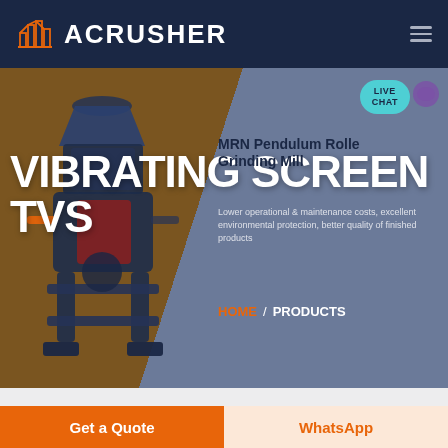[Figure (logo): ACRUSHER brand logo with orange building/factory icon and white bold text on dark navy background]
[Figure (screenshot): Hero banner of ACRUSHER website showing a large industrial vibrating screen machine (TVS model) on a split brown/blue-grey background, with product name MRN Pendulum Roller Grinding Mill and Live Chat bubble]
VIBRATING SCREEN TVS
MRN Pendulum Roller Grinding Mill
Lower operational & maintenance costs, excellent environmental protection, better quality of finished products
HOME / PRODUCTS
Get a Quote
WhatsApp